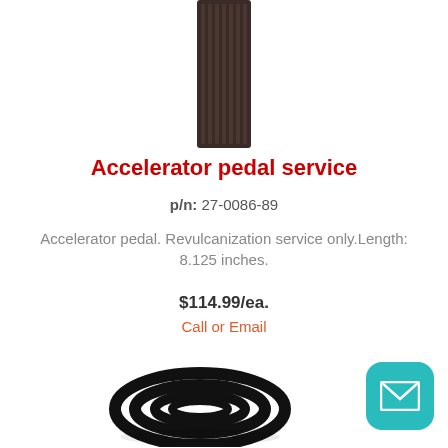[Figure (photo): Accelerator pedal rubber strip, dark brown/black ribbed rectangular piece, shown vertically]
Accelerator pedal service
p/n: 27-0086-89
Accelerator pedal. Revulcanization service only.Length: 8.125 inches.
$114.99/ea.
Call or Email
[Figure (photo): Coiled black rubber hose or wire, shown as a round coil]
[Figure (other): Teal rounded square email/message button icon in bottom right corner]